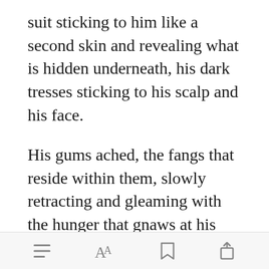suit sticking to him like a second skin and revealing what is hidden underneath, his dark tresses sticking to his scalp and his face.
His gums ached, the fangs that reside within them, slowly retracting and gleaming with the hunger that gnaws at his stomach. The smallest of whimpers reaches his ears, bringing his attention to a
[Figure (screenshot): Green 'Open in app' button overlay on text]
Toolbar with menu, font, bookmark, and share icons